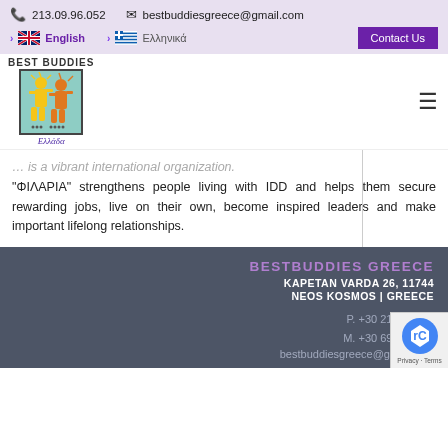213.09.96.052   bestbuddiesgreece@gmail.com
English   Ελληνικά   Contact Us
[Figure (logo): Best Buddies Greece logo — two stylized figures (yellow and orange) on teal background, with text 'BEST BUDDIES' above and 'Ελλάδα' below]
'ΦΙΛΑΡΙΑ' strengthens people living with IDD and helps them secure rewarding jobs, live on their own, become inspired leaders and make important lifelong relationships.
BESTBUDDIES GREECE
KAPETAN VARDA 26, 11744
NEOS KOSMOS | GREECE
P. +30 213.09.9…
M. +30 694.04.3…
bestbuddiesgreece@gmail.com